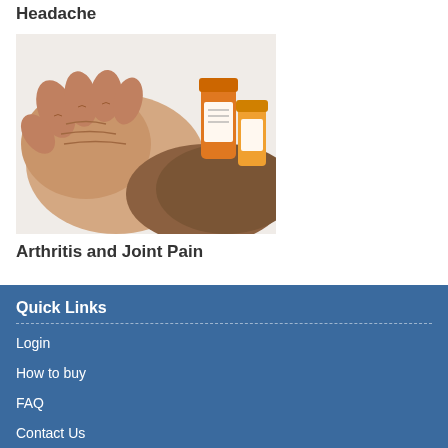Headache
[Figure (photo): Hands being rubbed together with orange prescription medicine bottles in the background, illustrating arthritis and joint pain.]
Arthritis and Joint Pain
Quick Links
Login
How to buy
FAQ
Contact Us